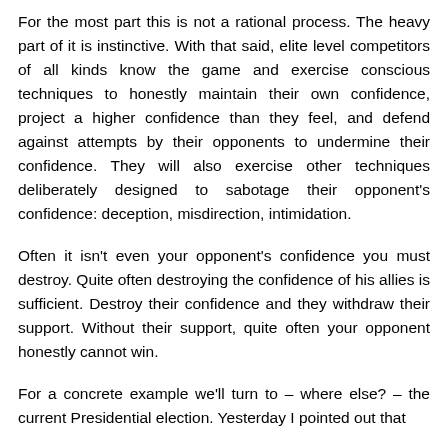For the most part this is not a rational process. The heavy part of it is instinctive. With that said, elite level competitors of all kinds know the game and exercise conscious techniques to honestly maintain their own confidence, project a higher confidence than they feel, and defend against attempts by their opponents to undermine their confidence. They will also exercise other techniques deliberately designed to sabotage their opponent's confidence: deception, misdirection, intimidation.
Often it isn't even your opponent's confidence you must destroy. Quite often destroying the confidence of his allies is sufficient. Destroy their confidence and they withdraw their support. Without their support, quite often your opponent honestly cannot win.
For a concrete example we'll turn to – where else? – the current Presidential election. Yesterday I pointed out that